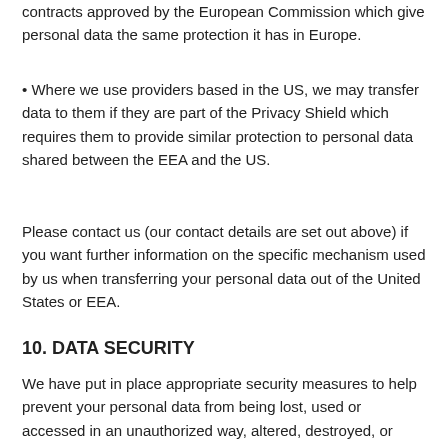contracts approved by the European Commission which give personal data the same protection it has in Europe.
• Where we use providers based in the US, we may transfer data to them if they are part of the Privacy Shield which requires them to provide similar protection to personal data shared between the EEA and the US.
Please contact us (our contact details are set out above) if you want further information on the specific mechanism used by us when transferring your personal data out of the United States or EEA.
10. DATA SECURITY
We have put in place appropriate security measures to help prevent your personal data from being lost, used or accessed in an unauthorized way, altered, destroyed, or disclosed. In addition we limit access to your personal data to those employees, agents, contractors and other third parties who have a business need to know. They will only process your personal data on our instructions and they are subject to a duty of confidentiality.